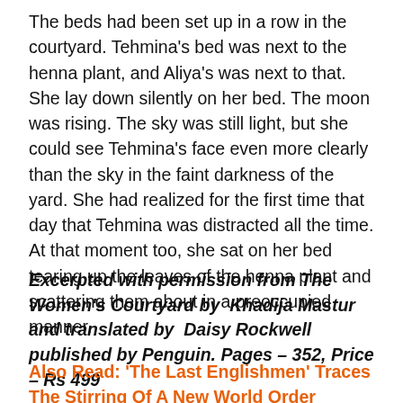The beds had been set up in a row in the courtyard. Tehmina's bed was next to the henna plant, and Aliya's was next to that. She lay down silently on her bed. The moon was rising. The sky was still light, but she could see Tehmina's face even more clearly than the sky in the faint darkness of the yard. She had realized for the first time that day that Tehmina was distracted all the time. At that moment too, she sat on her bed tearing up the leaves of the henna plant and scattering them about in a preoccupied manner.
Excerpted with permission from The Women's Courtyard by  Khadija Mastur and translated by  Daisy Rockwell  published by Penguin. Pages – 352, Price – Rs 499
Also Read: 'The Last Englishmen' Traces The Stirring Of A New World Order